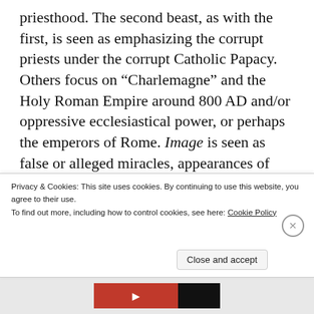priesthood. The second beast, as with the first, is seen as emphasizing the corrupt priests under the corrupt Catholic Papacy. Others focus on “Charlemagne” and the Holy Roman Empire around 800 AD and/or oppressive ecclesiastical power, or perhaps the emperors of Rome. Image is seen as false or alleged miracles, appearances of Mary and such being used to manipulate people down through the centuries to the corrupt practices of the Church. The 666 is seen by Irenaeus’s
Privacy & Cookies: This site uses cookies. By continuing to use this website, you agree to their use.
To find out more, including how to control cookies, see here: Cookie Policy
Close and accept